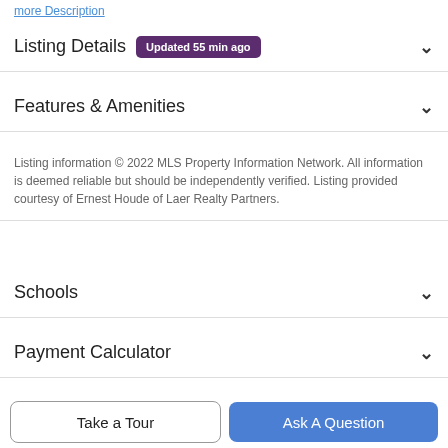more Description
Listing Details  Updated 55 min ago
Features & Amenities
Listing information © 2022 MLS Property Information Network. All information is deemed reliable but should be independently verified. Listing provided courtesy of Ernest Houde of Laer Realty Partners.
Schools
Payment Calculator
Contact Agent
Take a Tour
Ask A Question